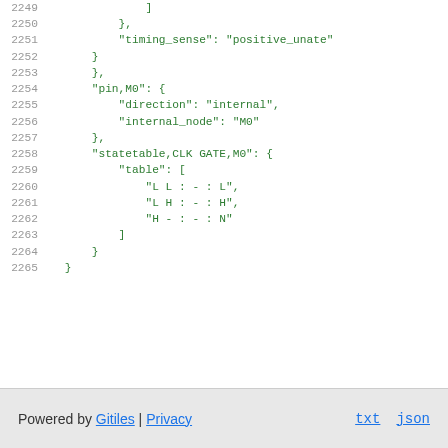2249    ]
2250    },
2251    "timing_sense": "positive_unate"
2252  }
2253  },
2254  "pin,M0": {
2255    "direction": "internal",
2256    "internal_node": "M0"
2257  },
2258  "statetable,CLK GATE,M0": {
2259    "table": [
2260      "L L : - : L",
2261      "L H : - : H",
2262      "H - : - : N"
2263    ]
2264  }
2265 }
Powered by Gitiles | Privacy    txt  json